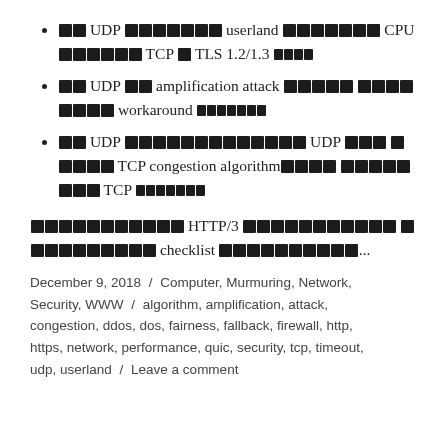[redacted] UDP [redacted] userland [redacted] CPU [redacted] TCP [redacted] TLS 1.2/1.3 [redacted]
[redacted] UDP [redacted] amplification attack [redacted] [redacted] workaround [redacted]
[redacted] UDP [redacted] UDP [redacted] TCP congestion algorithm[redacted] [redacted] TCP [redacted]
[redacted] HTTP/3 [redacted] [redacted] checklist [redacted]...
December 9, 2018 / Computer, Murmuring, Network, Security, WWW / algorithm, amplification, attack, congestion, ddos, dos, fairness, fallback, firewall, http, https, network, performance, quic, security, tcp, timeout, udp, userland / Leave a comment